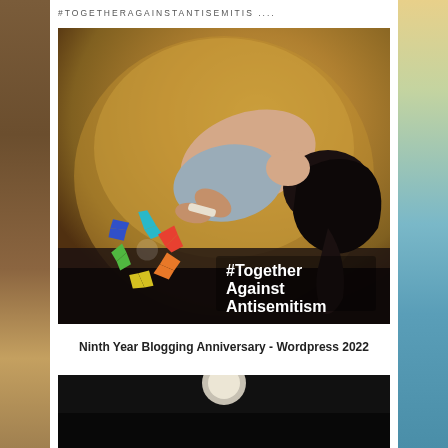#TOGETHERAGAINSTANTISEMITIS ....
[Figure (illustration): Painting of a person curled over with head bowed and hands bound, with a colorful '#Together Against Antisemitism' campaign logo overlaid in the lower left, and the hashtag text '#Together Against Antisemitism' in white on the lower right.]
Ninth Year Blogging Anniversary - Wordpress 2022
[Figure (photo): Partial bottom image showing dark background with light circular element, cropped.]